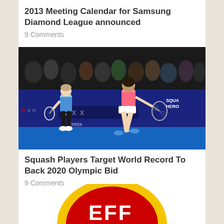2013 Meeting Calendar for Samsung Diamond League announced
9 Comments
[Figure (photo): Two female squash players on a blue court during a match, with crowd in background. Sponsors include 'forexx' and 'SQUASH HERO' visible on court banners.]
Squash Players Target World Record To Back 2020 Olympic Bid
9 Comments
[Figure (logo): Circular badge logo with yellow outer ring and red inner circle, with white letters 'EFF' visible at the bottom of the page.]